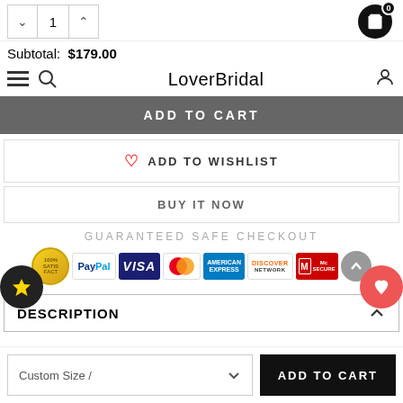Subtotal: $179.00
LoverBridal
ADD TO CART
♡  ADD TO WISHLIST
BUY IT NOW
GUARANTEED SAFE CHECKOUT
[Figure (infographic): Payment logos: 100% satisfaction guarantee, PayPal, VISA, MasterCard, American Express, Discover Network, McAfee Secure]
DESCRIPTION
Custom Size /  ∨
ADD TO CART